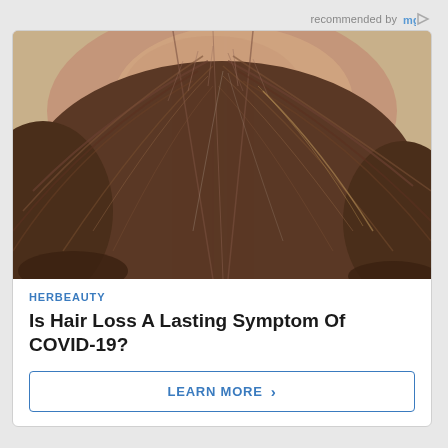recommended by mgid
[Figure (photo): Close-up top-down view of a person's head showing significant hair thinning and hair loss on the crown, with brown hair visible on the sides.]
HERBEAUTY
Is Hair Loss A Lasting Symptom Of COVID-19?
LEARN MORE